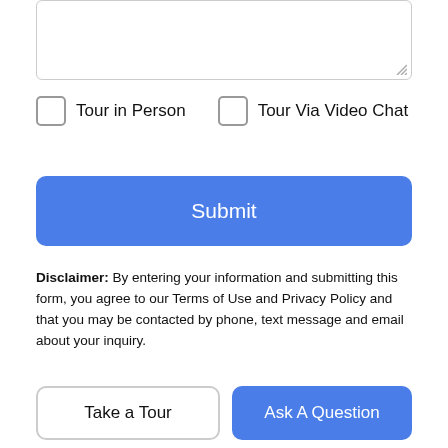[Figure (other): Text input textarea box with resize handle in bottom-right corner]
Tour in Person
Tour Via Video Chat
Submit
Disclaimer: By entering your information and submitting this form, you agree to our Terms of Use and Privacy Policy and that you may be contacted by phone, text message and email about your inquiry.
© 2022 Big Sky Country MLS. All rights reserved. IDX information is provided exclusively for consumers' personal, non-commercial use and may not be used for any purpose other than to identify prospective properties consumers may be interested in purchasing. Information is deemed reliable but is not guaranteed accurate by the MLS or L&K Real Estate. Data last updated: 2022-
Take a Tour
Ask A Question